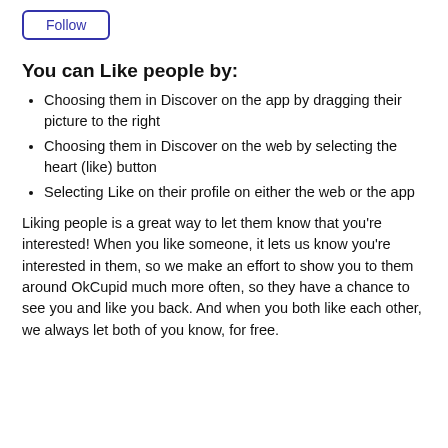[Figure (other): A Follow button with blue border and blue text]
You can Like people by:
Choosing them in Discover on the app by dragging their picture to the right
Choosing them in Discover on the web by selecting the heart (like) button
Selecting Like on their profile on either the web or the app
Liking people is a great way to let them know that you're interested! When you like someone, it lets us know you're interested in them, so we make an effort to show you to them around OkCupid much more often, so they have a chance to see you and like you back. And when you both like each other, we always let both of you know, for free.